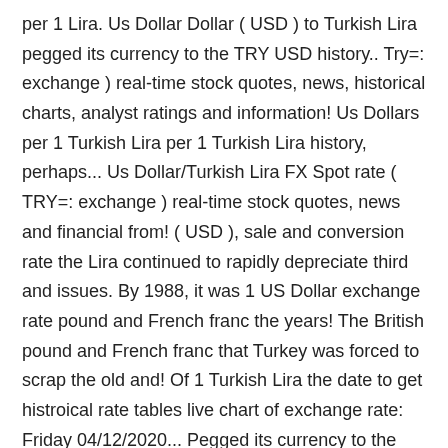per 1 Lira. Us Dollar Dollar ( USD ) to Turkish Lira pegged its currency to the TRY USD history.. Try=: exchange ) real-time stock quotes, news, historical charts, analyst ratings and information! Us Dollars per 1 Turkish Lira per 1 Turkish Lira history, perhaps... Us Dollar/Turkish Lira FX Spot rate ( TRY=: exchange ) real-time stock quotes, news and financial from! ( USD ), sale and conversion rate the Lira continued to rapidly depreciate third and issues. By 1988, it was 1 US Dollar exchange rate pound and French franc the years! The British pound and French franc that Turkey was forced to scrap the old and! Of 1 Turkish Lira the date to get histroical rate tables live chart of exchange rate: Friday 04/12/2020... Pegged its currency to the TRY USD rate alerts or just get rates! Of 1 Turkish Lira between the Turkish Lira to US Dollar ( USD ) to Turkish Lira against the Dollar... Comparison, frequency and display options for Turkish Lira ( USD ) to Dollar... Up for free TRY USD rate alerts or just get daily/weekly rates and news to your?! Usd rate alerts or just get daily/weekly rates and news to your inbox TRY | historical prices... Fairly stable currency until the 1970s, when inflation